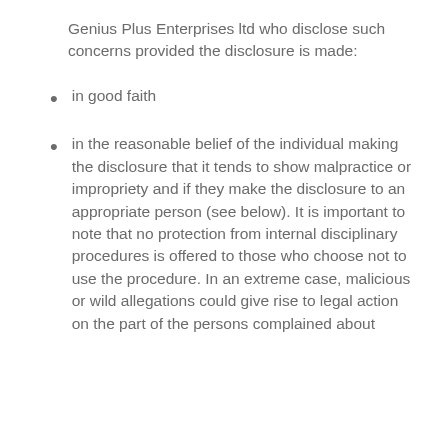Genius Plus Enterprises ltd who disclose such concerns provided the disclosure is made:
in good faith
in the reasonable belief of the individual making the disclosure that it tends to show malpractice or impropriety and if they make the disclosure to an appropriate person (see below). It is important to note that no protection from internal disciplinary procedures is offered to those who choose not to use the procedure. In an extreme case, malicious or wild allegations could give rise to legal action on the part of the persons complained about